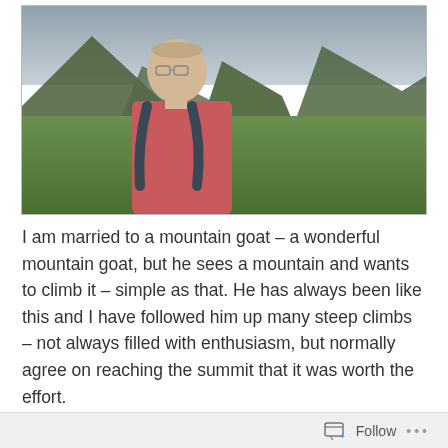[Figure (photo): A man wearing a pink t-shirt and backpack smiling at the camera, with a scenic green mountain valley and overcast sky in the background.]
I am married to a mountain goat – a wonderful mountain goat, but he sees a mountain and wants to climb it – simple as that. He has always been like this and I have followed him up many steep climbs – not always filled with enthusiasm, but normally agree on reaching the summit that it was worth the effort.
Follow ...